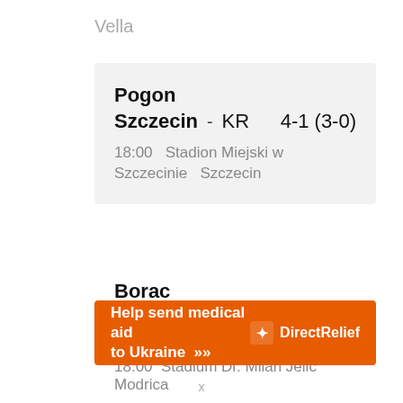Vella
Pogon Szczecin - KR 4-1 (3-0)
18:00   Stadion Miejski w Szczecinie   Szczecin
Borac Banja Luka - B36 Tórshavn 2-0 (1-0)
18:00   Stadium Dr. Milan Jelic   Modrica
[Figure (other): Orange advertisement banner: 'Help send medical aid to Ukraine >>' with Direct Relief logo]